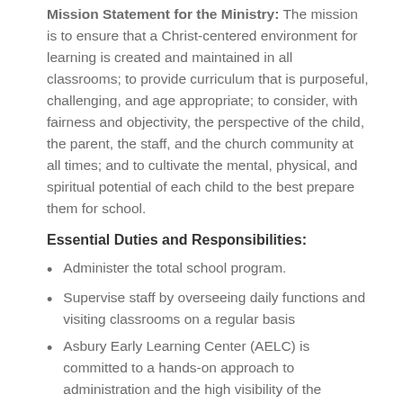Mission Statement for the Ministry: The mission is to ensure that a Christ-centered environment for learning is created and maintained in all classrooms; to provide curriculum that is purposeful, challenging, and age appropriate; to consider, with fairness and objectivity, the perspective of the child, the parent, the staff, and the church community at all times; and to cultivate the mental, physical, and spiritual potential of each child to the best prepare them for school.
Essential Duties and Responsibilities:
Administer the total school program.
Supervise staff by overseeing daily functions and visiting classrooms on a regular basis
Asbury Early Learning Center (AELC) is committed to a hands-on approach to administration and the high visibility of the Director on the preschool campus.
Meet all disciplinary guidelines.
Ensure individual progress reports are completed in a timely manner.